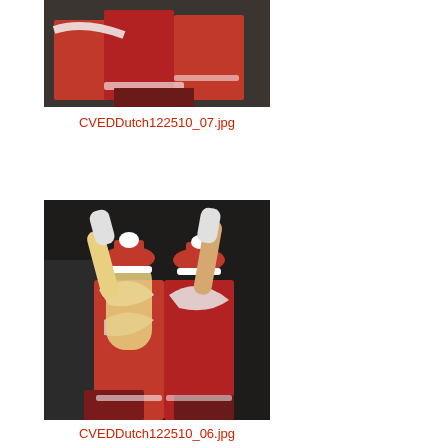[Figure (photo): Photo of women in red and white Santa-style costumes at a party event, cropped to show torsos and skirts. Filename: CVEDDutch122510_07.jpg]
CVEDDutch122510_07.jpg
[Figure (photo): Photo of women in red Santa-style costumes with Santa hats and white feather boas, seen from behind with arms raised at a party/club event. Filename: CVEDDutch122510_06.jpg]
CVEDDutch122510_06.jpg